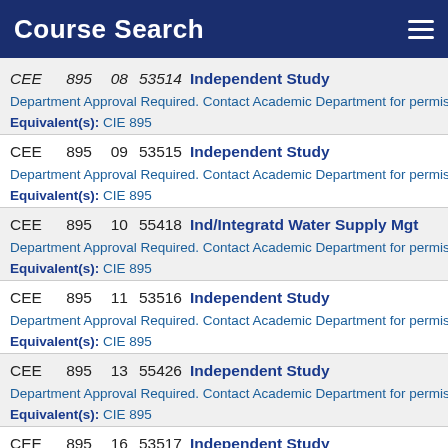Course Search
CEE 895 08 53514 Independent Study — Department Approval Required. Contact Academic Department for permission then r... Equivalent(s): CIE 895
CEE 895 09 53515 Independent Study — Department Approval Required. Contact Academic Department for permission then r... Equivalent(s): CIE 895
CEE 895 10 55418 Ind/Integratd Water Supply Mgt — Department Approval Required. Contact Academic Department for permission then r... Equivalent(s): CIE 895
CEE 895 11 53516 Independent Study — Department Approval Required. Contact Academic Department for permission then r... Equivalent(s): CIE 895
CEE 895 13 55426 Independent Study — Department Approval Required. Contact Academic Department for permission then r... Equivalent(s): CIE 895
CEE 895 16 53517 Independent Study — Department Approval Required. Contact Academic Department for permission then...